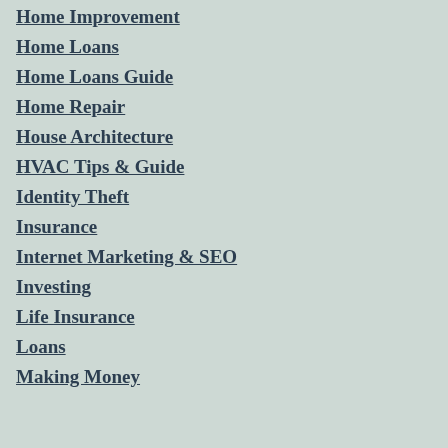Home Improvement
Home Loans
Home Loans Guide
Home Repair
House Architecture
HVAC Tips & Guide
Identity Theft
Insurance
Internet Marketing & SEO
Investing
Life Insurance
Loans
Making Money